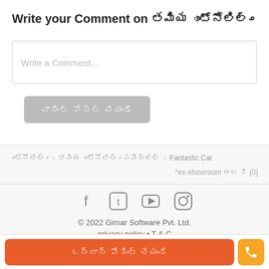Write your Comment on ఉమియా ఆటోమొబైల్-జి
Write a Comment...
కామెంట్ పోస్ట్ చేయండి
ఆటోమొబైల్-జి > ఉమియా ఆటోమొబైల్-జి సమీక్షలు > Fantastic Car
*ex-showroom ధర కి {0}
[Figure (infographic): Social media icons: Facebook, Twitter, YouTube, Instagram]
© 2022 Girnar Software Pvt. Ltd.
privacy policy • T & C
ఆన్‌లైన్ బుకింగ్ చేయండి
[Figure (infographic): Phone call icon button in orange]